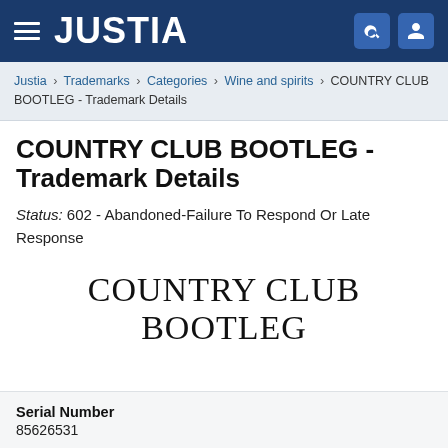JUSTIA
Justia › Trademarks › Categories › Wine and spirits › COUNTRY CLUB BOOTLEG - Trademark Details
COUNTRY CLUB BOOTLEG - Trademark Details
Status: 602 - Abandoned-Failure To Respond Or Late Response
[Figure (illustration): Trademark wordmark display: COUNTRY CLUB BOOTLEG in large serif font]
Serial Number
85626531